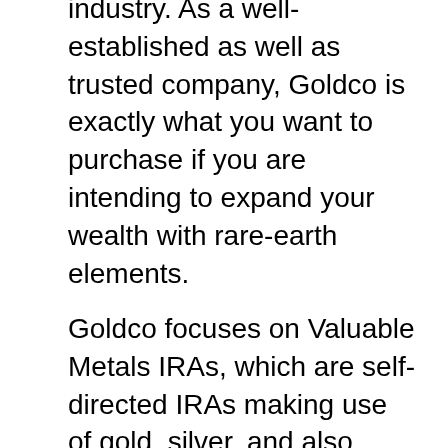industry. As a well-established as well as trusted company, Goldco is exactly what you want to purchase if you are intending to expand your wealth with rare-earth elements.
Goldco focuses on Valuable Metals IRAs, which are self-directed IRAs making use of gold, silver, and also various other rare-earth elements. You can diversify your portfolio and offer a barrier for your financial resources to stay clear of the effects of stock market volatility by purchasing gold or silver. Rare-earth elements continue to be preferred financial investments because their value often tends to remain steady traditionally. The value of precious metals likewise often tends to raise when the stock exchange or